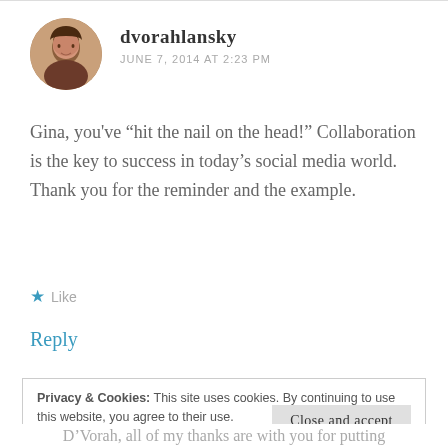dvorahlansky
JUNE 7, 2014 AT 2:23 PM
Gina, you've “hit the nail on the head!” Collaboration is the key to success in today’s social media world. Thank you for the reminder and the example.
★ Like
Reply
Privacy & Cookies: This site uses cookies. By continuing to use this website, you agree to their use.
To find out more, including how to control cookies, see here: Cookie Policy
Close and accept
D’Vorah, all of my thanks are with you for putting